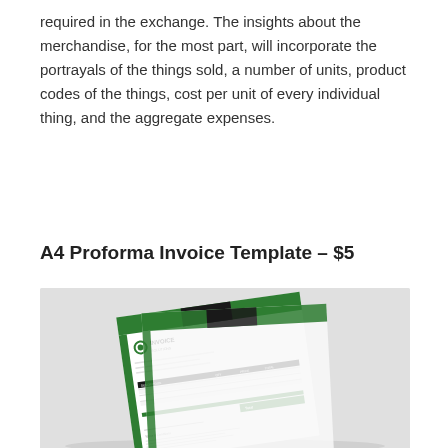required in the exchange. The insights about the merchandise, for the most part, will incorporate the portrayals of the things sold, a number of units, product codes of the things, cost per unit of every individual thing, and the aggregate expenses.
Commercial Invoice Template
A4 Proforma Invoice Template – $5
[Figure (photo): A4 Proforma Invoice Template product mockup showing a professional invoice document with green and black design elements, including an INVOICE header, logo, table sections, and Terms & Conditions.]